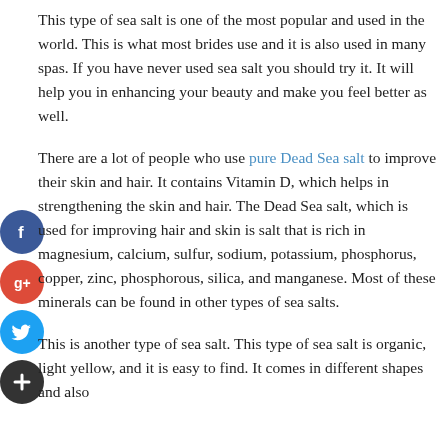This type of sea salt is one of the most popular and used in the world. This is what most brides use and it is also used in many spas. If you have never used sea salt you should try it. It will help you in enhancing your beauty and make you feel better as well.
There are a lot of people who use pure Dead Sea salt to improve their skin and hair. It contains Vitamin D, which helps in strengthening the skin and hair. The Dead Sea salt, which is used for improving hair and skin is salt that is rich in magnesium, calcium, sulfur, sodium, potassium, phosphorus, copper, zinc, phosphorous, silica, and manganese. Most of these minerals can be found in other types of sea salts.
This is another type of sea salt. This type of sea salt is organic, light yellow, and it is easy to find. It comes in different shapes and also...